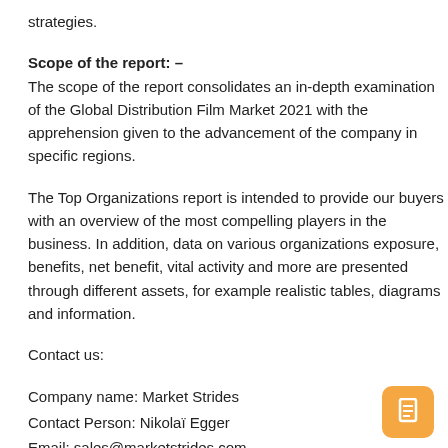strategies.
Scope of the report: – The scope of the report consolidates an in-depth examination of the Global Distribution Film Market 2021 with the apprehension given to the advancement of the company in specific regions.
The Top Organizations report is intended to provide our buyers with an overview of the most compelling players in the business. In addition, data on various organizations exposure, benefits, net benefit, vital activity and more are presented through different assets, for example realistic tables, diagrams and information.
Contact us:
Company name: Market Strides
Contact Person: NikolaÃ¯ Egger
Email: sales@marketstrides.com
Telephone: +1 856 677 8909 (United States)
About Us: